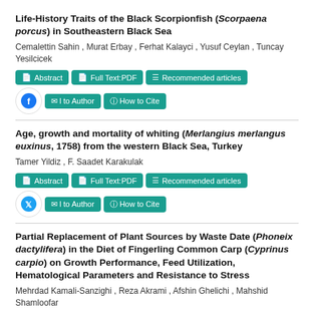Life-History Traits of the Black Scorpionfish (Scorpaena porcus) in Southeastern Black Sea
Cemalettin Sahin , Murat Erbay , Ferhat Kalayci , Yusuf Ceylan , Tuncay Yesilcicek
Age, growth and mortality of whiting (Merlangius merlangus euxinus, 1758) from the western Black Sea, Turkey
Tamer Yildiz , F. Saadet Karakulak
Partial Replacement of Plant Sources by Waste Date (Phoneix dactylifera) in the Diet of Fingerling Common Carp (Cyprinus carpio) on Growth Performance, Feed Utilization, Hematological Parameters and Resistance to Stress
Mehrdad Kamali-Sanzighi , Reza Akrami , Afshin Ghelichi , Mahshid Shamloofar